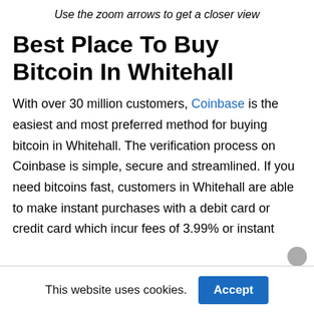Use the zoom arrows to get a closer view
Best Place To Buy Bitcoin In Whitehall
With over 30 million customers, Coinbase is the easiest and most preferred method for buying bitcoin in Whitehall. The verification process on Coinbase is simple, secure and streamlined. If you need bitcoins fast, customers in Whitehall are able to make instant purchases with a debit card or credit card which incur fees of 3.99% or instant
This website uses cookies.